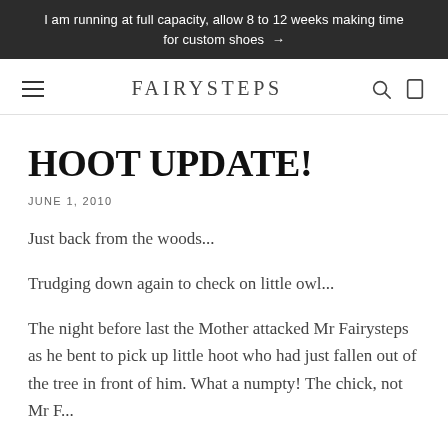I am running at full capacity, allow 8 to 12 weeks making time for custom shoes →
FAIRYSTEPS
HOOT UPDATE!
JUNE 1, 2010
Just back from the woods...
Trudging down again to check on little owl...
The night before last the Mother attacked Mr Fairysteps as he bent to pick up little hoot who had just fallen out of the tree in front of him. What a numpty! The chick, not Mr F...